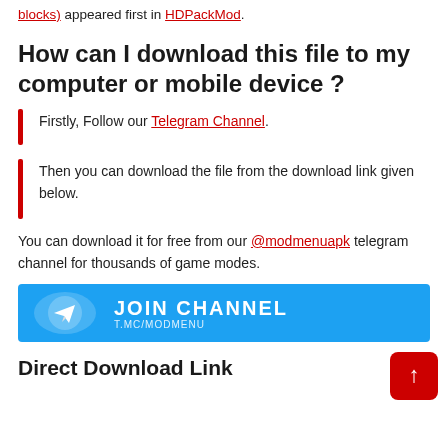blocks) appeared first in HDPackMod.
How can I download this file to my computer or mobile device ?
Firstly, Follow our Telegram Channel.
Then you can download the file from the download link given below.
You can download it for free from our @modmenuapk telegram channel for thousands of game modes.
[Figure (illustration): Blue banner with Telegram paper plane icon and text 'JOIN CHANNEL T.ME/MODMENU']
Direct Download Link